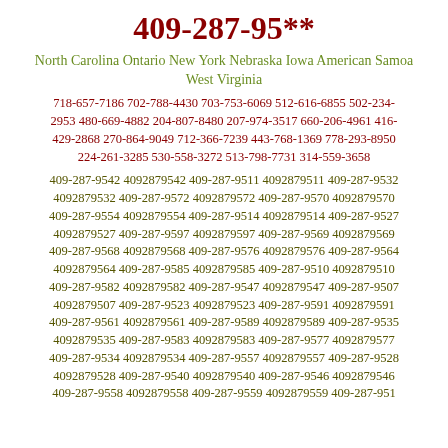409-287-95**
North Carolina Ontario New York Nebraska Iowa American Samoa West Virginia
718-657-7186 702-788-4430 703-753-6069 512-616-6855 502-234-2953 480-669-4882 204-807-8480 207-974-3517 660-206-4961 416-429-2868 270-864-9049 712-366-7239 443-768-1369 778-293-8950 224-261-3285 530-558-3272 513-798-7731 314-559-3658
409-287-9542 4092879542 409-287-9511 4092879511 409-287-9532 4092879532 409-287-9572 4092879572 409-287-9570 4092879570 409-287-9554 4092879554 409-287-9514 4092879514 409-287-9527 4092879527 409-287-9597 4092879597 409-287-9569 4092879569 409-287-9568 4092879568 409-287-9576 4092879576 409-287-9564 4092879564 409-287-9585 4092879585 409-287-9510 4092879510 409-287-9582 4092879582 409-287-9547 4092879547 409-287-9507 4092879507 409-287-9523 4092879523 409-287-9591 4092879591 409-287-9561 4092879561 409-287-9589 4092879589 409-287-9535 4092879535 409-287-9583 4092879583 409-287-9577 4092879577 409-287-9534 4092879534 409-287-9557 4092879557 409-287-9528 4092879528 409-287-9540 4092879540 409-287-9546 4092879546 409-287-9558 4092879558 409-287-9559 4092879559 409-287-951